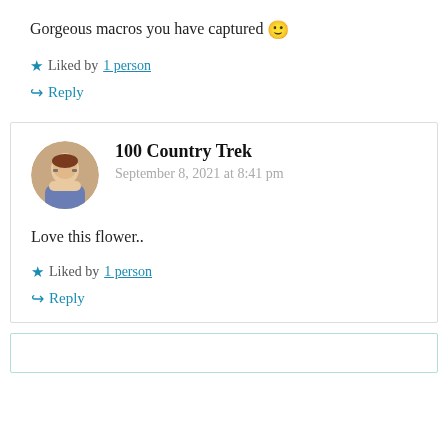Gorgeous macros you have captured 🙂
★ Liked by 1 person
↪ Reply
100 Country Trek
September 8, 2021 at 8:41 pm
Love this flower..
★ Liked by 1 person
↪ Reply